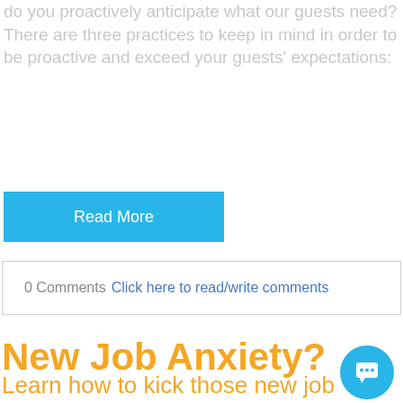do you proactively anticipate what our guests need? There are three practices to keep in mind in order to be proactive and exceed your guests' expectations:
Read More
0 Comments Click here to read/write comments
New Job Anxiety?
Learn how to kick those new job jitters!
Posted by Casey Edwards on May 28, 2019